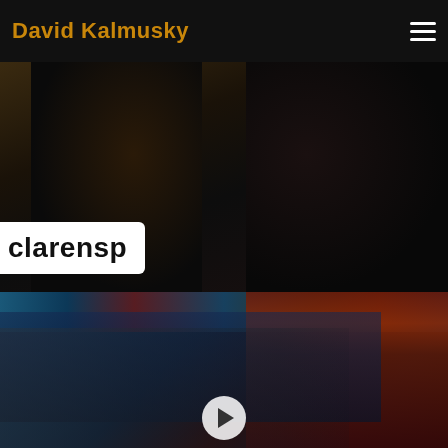David Kalmusky
[Figure (photo): Dark backstage photo showing silhouettes of people, with a white overlay label reading 'clarensp' in the lower left corner]
[Figure (photo): Concert stage photo showing a group of performers on stage with colorful lights, a teal/red decorative backdrop, and a video play button overlay at the bottom center]